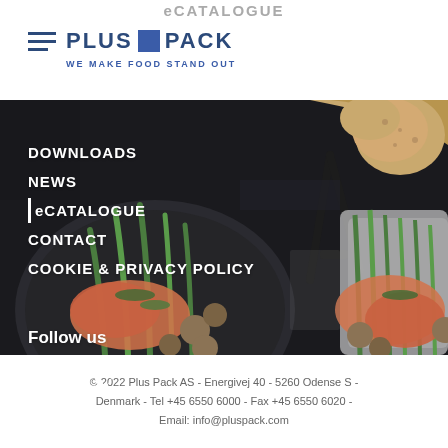eCATALOGUE
[Figure (logo): Plus Pack logo with hamburger menu icon and tagline WE MAKE FOOD STAND OUT]
[Figure (photo): Background food photo showing salmon with asparagus and vegetables on a dark plate, and a tray with salmon and asparagus, with a fork visible, dark moody food photography style]
DOWNLOADS
NEWS
eCATALOGUE
CONTACT
COOKIE & PRIVACY POLICY
Follow us
[Figure (logo): LinkedIn icon and Vimeo icon in white]
© 2022 Plus Pack AS  -  Energivej 40  -  5260 Odense S  -  Denmark  -  Tel +45 6550 6000  -  Fax +45 6550 6020  -  Email: info@pluspack.com